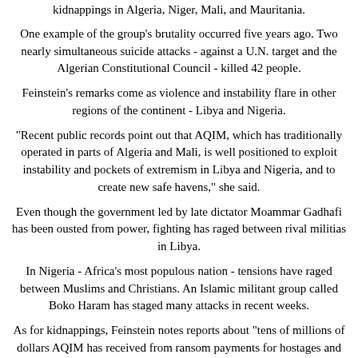kidnappings in Algeria, Niger, Mali, and Mauritania.
One example of the group's brutality occurred five years ago. Two nearly simultaneous suicide attacks - against a U.N. target and the Algerian Constitutional Council - killed 42 people.
Feinstein's remarks come as violence and instability flare in other regions of the continent - Libya and Nigeria.
"Recent public records point out that AQIM, which has traditionally operated in parts of Algeria and Mali, is well positioned to exploit instability and pockets of extremism in Libya and Nigeria, and to create new safe havens," she said.
Even though the government led by late dictator Moammar Gadhafi has been ousted from power, fighting has raged between rival militias in Libya.
In Nigeria - Africa's most populous nation - tensions have raged between Muslims and Christians. An Islamic militant group called Boko Haram has staged many attacks in recent weeks.
As for kidnappings, Feinstein notes reports about "tens of millions of dollars AQIM has received from ransom payments for hostages and other illicit activities."